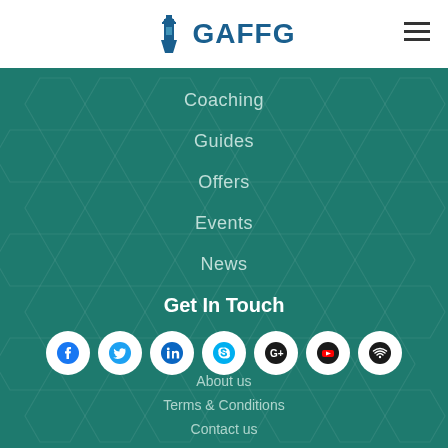[Figure (logo): GAFFG logo with lighthouse icon in blue]
Coaching
Guides
Offers
Events
News
Get In Touch
[Figure (infographic): Social media icons: Facebook, Twitter, LinkedIn, Skype, Google+, YouTube, WiFi/RSS]
About us
Terms & Conditions
Contact us